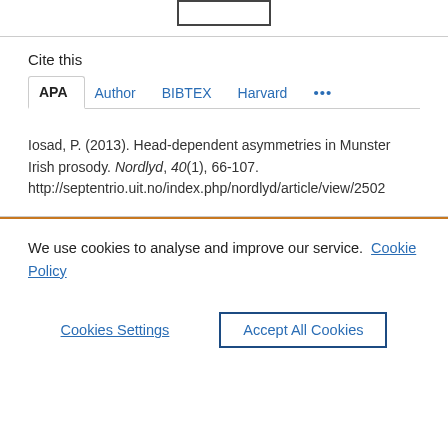Cite this
APA | Author | BIBTEX | Harvard | ...
Iosad, P. (2013). Head-dependent asymmetries in Munster Irish prosody. Nordlyd, 40(1), 66-107. http://septentrio.uit.no/index.php/nordlyd/article/view/2502
We use cookies to analyse and improve our service. Cookie Policy
Cookies Settings | Accept All Cookies